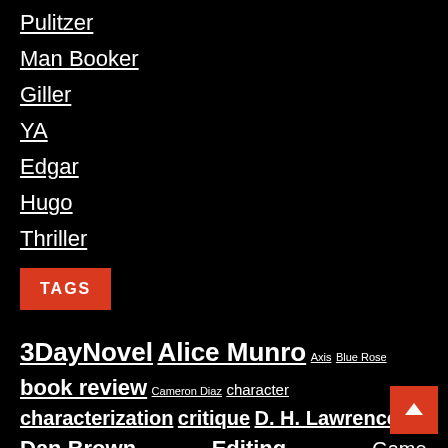Pulitzer
Man Booker
Giller
YA
Edgar
Hugo
Thriller
TAGS
3DayNovel Alice Munro Axis Blue Rose book review Cameron Diaz character characterization critique D. H. Lawrence Dan Brown DH Lawrence Editing Frances Hwang Game of Thrones gay Girl with the Dragon Tattoo Gong Li Hunger Games Jack Reacher Austen jazz John Updike Lee Child lifetime Memoirs of a Geisha movie